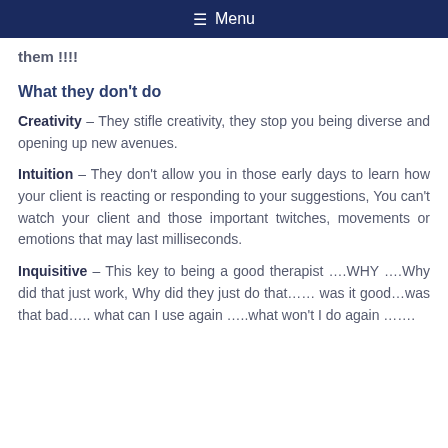≡ Menu
them !!!!
What they don't do
Creativity – They stifle creativity, they stop you being diverse and opening up new avenues.
Intuition – They don't allow you in those early days to learn how your client is reacting or responding to your suggestions, You can't watch your client and those important twitches, movements or emotions that may last milliseconds.
Inquisitive – This key to being a good therapist ….WHY ….Why did that just work, Why did they just do that…… was it good…was that bad….. what can I use again …..what won't I do again …….